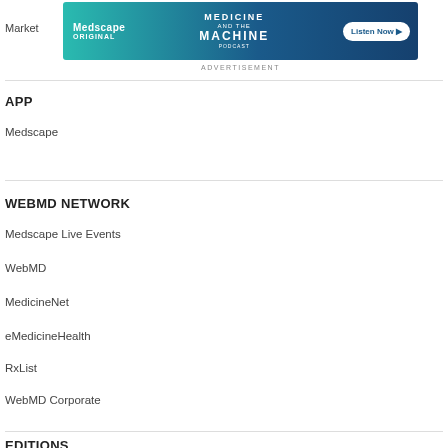[Figure (screenshot): Medscape Original / Medicine and the Machine podcast advertisement banner with 'Listen Now' button]
APP
Medscape
WEBMD NETWORK
Medscape Live Events
WebMD
MedicineNet
eMedicineHealth
RxList
WebMD Corporate
EDITIONS